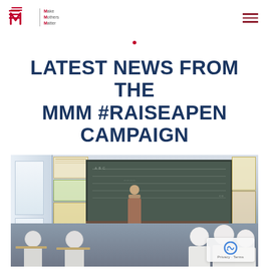Make Mothers Matter
LATEST NEWS FROM THE MMM #RAISEAPEN CAMPAIGN
[Figure (photo): A classroom scene showing a teacher in a headscarf standing in front of a blackboard, with female students in white headscarves seated at desks. Papers and charts are posted on the wall behind the blackboard.]